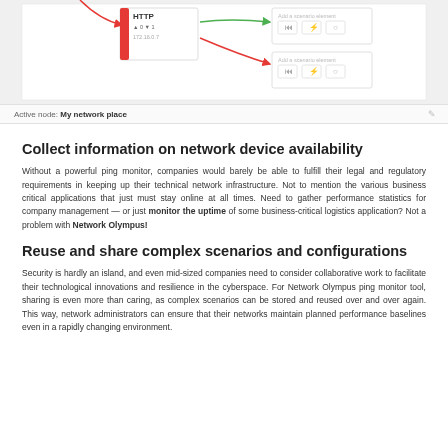[Figure (screenshot): Network monitoring tool screenshot showing an HTTP node block with red sidebar, IP address 172.16.0.7, counters, and two 'Add a scenario element' panels with icon buttons on the right, connected by green and red arrows.]
Active node: My network place
Collect information on network device availability
Without a powerful ping monitor, companies would barely be able to fulfill their legal and regulatory requirements in keeping up their technical network infrastructure. Not to mention the various business critical applications that just must stay online at all times. Need to gather performance statistics for company management — or just monitor the uptime of some business-critical logistics application? Not a problem with Network Olympus!
Reuse and share complex scenarios and configurations
Security is hardly an island, and even mid-sized companies need to consider collaborative work to facilitate their technological innovations and resilience in the cyberspace. For Network Olympus ping monitor tool, sharing is even more than caring, as complex scenarios can be stored and reused over and over again. This way, network administrators can ensure that their networks maintain planned performance baselines even in a rapidly changing environment.